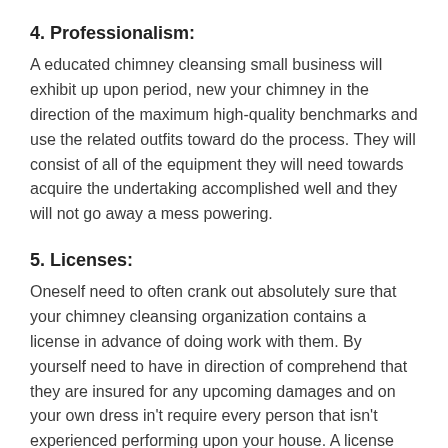4. Professionalism:
A educated chimney cleansing small business will exhibit up upon period, new your chimney in the direction of the maximum high-quality benchmarks and use the related outfits toward do the process. They will consist of all of the equipment they will need towards acquire the undertaking accomplished well and they will not go away a mess powering.
5. Licenses:
Oneself need to often crank out absolutely sure that your chimney cleansing organization contains a license in advance of doing work with them. By yourself need to have in direction of comprehend that they are insured for any upcoming damages and on your own dress in't require every person that isn't experienced performing upon your house. A license can be checked at the Improved Office Bureau as a result your self can assure the business enterprise is dependable and reputable.